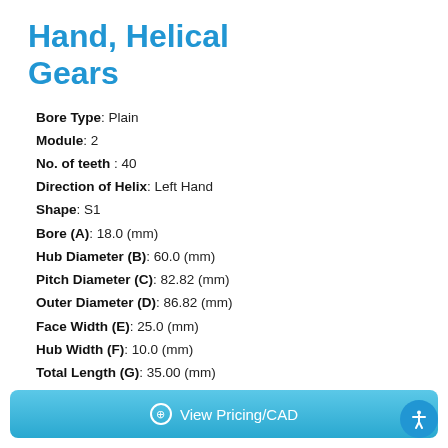Hand, Helical Gears
Bore Type: Plain
Module: 2
No. of teeth : 40
Direction of Helix: Left Hand
Shape: S1
Bore (A): 18.0 (mm)
Hub Diameter (B): 60.0 (mm)
Pitch Diameter (C): 82.82 (mm)
Outer Diameter (D): 86.82 (mm)
Face Width (E): 25.0 (mm)
Hub Width (F): 10.0 (mm)
Total Length (G): 35.00 (mm)
Helix Angle: 15°
View Pricing/CAD